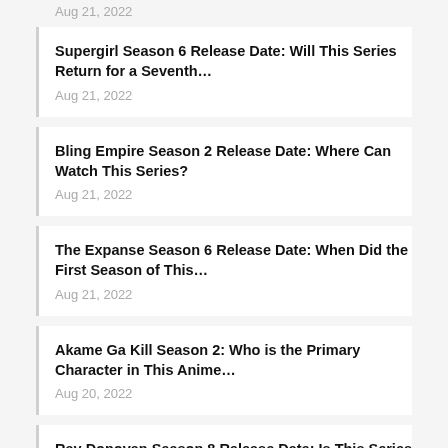Aug 21, 2022
Supergirl Season 6 Release Date: Will This Series Return for a Seventh…
Aug 21, 2022
Bling Empire Season 2 Release Date: Where Can Watch This Series?
Aug 21, 2022
The Expanse Season 6 Release Date: When Did the First Season of This…
Aug 21, 2022
Akame Ga Kill Season 2: Who is the Primary Character in This Anime…
Aug 20, 2022
Ray Donovan Season 8 Release Date: Is This Series Got Cancelled?
Aug 20, 2022